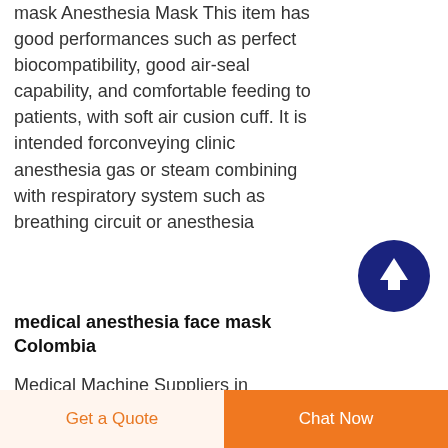mask Anesthesia Mask This item has good performances such as perfect biocompatibility, good air-seal capability, and comfortable feeding to patients, with soft air cusion cuff. It is intended forconveying clinic anesthesia gas or steam combining with respiratory system such as breathing circuit or anesthesia
[Figure (other): Dark navy blue circular scroll-to-top button with white upward arrow icon]
medical anesthesia face mask Colombia
Medical Machine Suppliers in ColombiaMedical Devices1Medical Devices1 is the international website for
Get a Quote  |  Chat Now